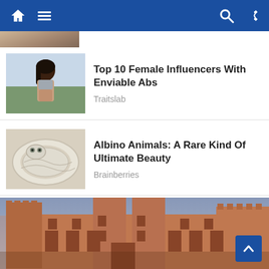Navigation bar with home, menu, search, shuffle icons
[Figure (screenshot): Partial thumbnail of previous article at top]
[Figure (photo): Woman with toned abs in athletic wear]
Top 10 Female Influencers With Enviable Abs
Traitslab
[Figure (photo): Close-up of an albino snake]
Albino Animals: A Rare Kind Of Ultimate Beauty
Brainberries
[Figure (photo): Large medieval castle palace with towers and arched windows, photographed from below against a cloudy sky]